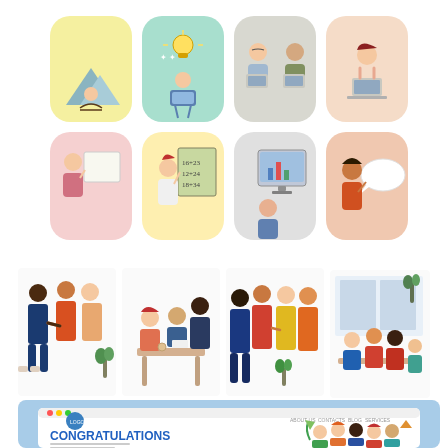[Figure (illustration): Collection of flat design illustrations: Row 1 shows four rounded-corner vignettes: (1) person meditating with mountains on yellow background, (2) person with laptop and lightbulb idea on teal background, (3) two people collaborating at laptops on grey background, (4) woman working at laptop on peach background. Row 2 shows four more rounded vignettes: (5) woman presenting at whiteboard on pink background, (6) scientist/teacher at chalkboard with equations on yellow background, (7) person at computer monitor on grey background, (8) woman with speech bubble on orange-peach background. Row 3 shows four wide group scene illustrations without backgrounds depicting networking/meeting groups of business people in colorful flat style. Row 4 shows the bottom portion of a website mockup on blue background with browser chrome (red/yellow/green dots), navigation (ABOUT US, CONTACTS, BLOG, SERVICES), a blue circle logo, and a 'CONGRATULATIONS' heading in bold blue, with a group of diverse illustrated people celebrating.]